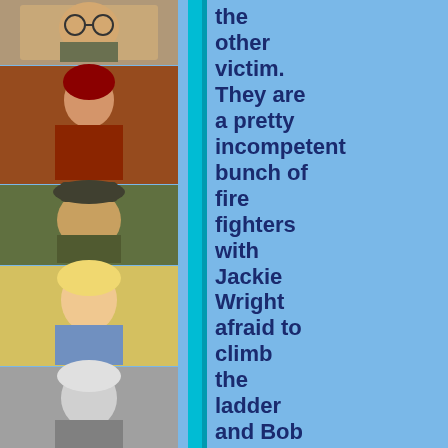[Figure (photo): Vertical strip of 6 photographs of TV show cast members on the left side of the page]
the other victim. They are a pretty incompetent bunch of fire fighters with Jackie Wright afraid to climb the ladder and Bob Todd and Henry McGee as the rest of the